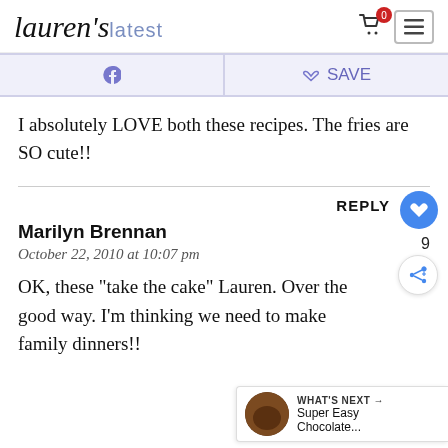Lauren's latest
Pinterest | Save
I absolutely LOVE both these recipes. The fries are SO cute!!
REPLY
Marilyn Brennan
October 22, 2010 at 10:07 pm
OK, these "take the cake" Lauren. Over th... good way. I'm thinking we need to make ... family dinners!!
WHAT'S NEXT → Super Easy Chocolate...